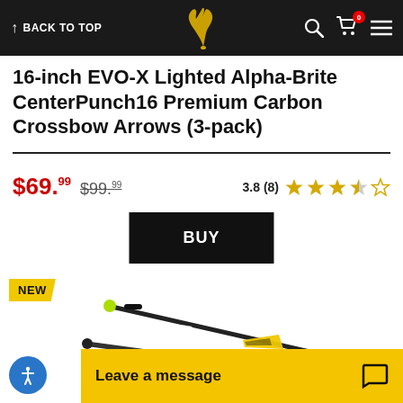↑ BACK TO TOP | [logo] | [search] [cart:0] [menu]
16-inch EVO-X Lighted Alpha-Brite CenterPunch16 Premium Carbon Crossbow Arrows (3-pack)
$69.99  $99.99  3.8 (8) ★★★★☆
BUY
NEW
[Figure (photo): Two black carbon crossbow arrows with yellow fletching and a green lighted nock tip, arranged diagonally against a white background.]
Leave a message